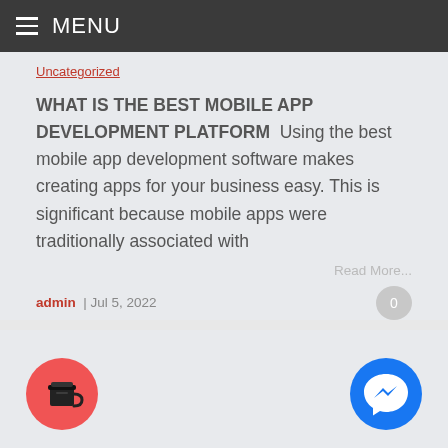MENU
Uncategorized
WHAT IS THE BEST MOBILE APP DEVELOPMENT PLATFORM  Using the best mobile app development software makes creating apps for your business easy. This is significant because mobile apps were traditionally associated with
Read More...
admin | Jul 5, 2022